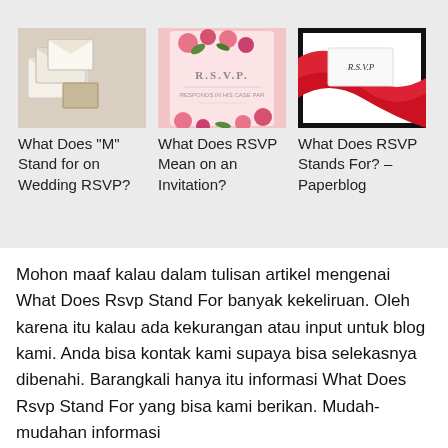[Figure (photo): Three thumbnail images showing RSVP-related content: envelopes/invitations, a floral pink RSVP card, and an RSVP card with red ribbon]
What Does "M" Stand for on Wedding RSVP?
What Does RSVP Mean on an Invitation?
What Does RSVP Stands For? – Paperblog
Mohon maaf kalau dalam tulisan artikel mengenai What Does Rsvp Stand For banyak kekeliruan. Oleh karena itu kalau ada kekurangan atau input untuk blog kami. Anda bisa kontak kami supaya bisa selekasnya dibenahi. Barangkali hanya itu informasi What Does Rsvp Stand For yang bisa kami berikan. Mudah-mudahan informasi